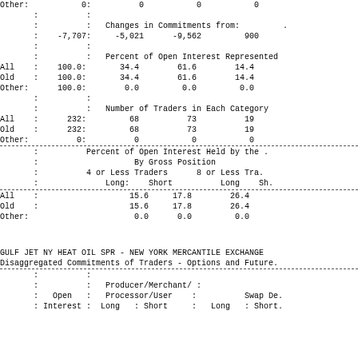| Other: |  | 0: |  | 0 |  | 0 |  | 0 |
|  | : |  | : | Changes in Commitments from: |  |  |  |  |
|  | : | -7,707: |  | -5,021 |  | -9,562 |  | 900 |
|  | : |  | : | Percent of Open Interest Represented |  |  |  |  |
| All | : | 100.0: |  | 34.4 |  | 61.6 |  | 14.4 |
| Old | : | 100.0: |  | 34.4 |  | 61.6 |  | 14.4 |
| Other: |  | 100.0: |  | 0.0 |  | 0.0 |  | 0.0 |
|  | : |  | : | Number of Traders in Each Category |  |  |  |  |
| All | : | 232: |  | 68 |  | 73 |  | 19 |
| Old | : | 232: |  | 68 |  | 73 |  | 19 |
| Other: |  | 0: |  | 0 |  | 0 |  | 0 |
|  | Percent of Open Interest Held by the | By Gross Position | 4 or Less Traders | 8 or Less Tra... | Long: | Short | Long | Sh... |
| --- | --- | --- | --- | --- | --- | --- | --- | --- |
| All | : |  | 15.6 | 17.8 | 26.4 |  |
| Old | : |  | 15.6 | 17.8 | 26.4 |  |
| Other: |  |  | 0.0 | 0.0 | 0.0 |  |
GULF JET NY HEAT OIL SPR - NEW YORK MERCANTILE EXCHANGE
Disaggregated Commitments of Traders - Options and Futures
|  | Open | Producer/Merchant/ | Processor/User | Swap Dea... |
| --- | --- | --- | --- | --- |
|  | Interest | Long | Short | Long | Short |